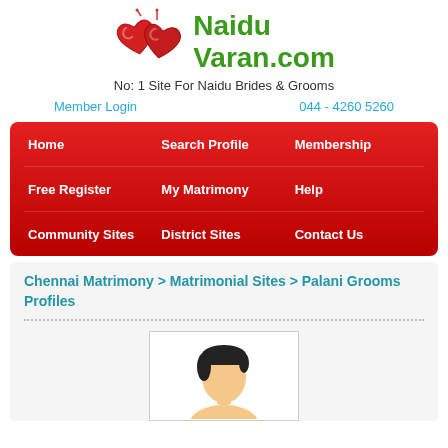[Figure (logo): NaiduVaran.com logo with two red hearts and green text]
No: 1 Site For Naidu Brides & Grooms
Member Login    044 - 4260 5260
| Home | Search Profile | Membership |
| Free Register | My Matrimony | Help |
| Community Sites | District Sites | Contact Us |
Chennai Matrimony > Matrimonial Sites > Palani Grooms Profiles
[Figure (illustration): Generic male avatar placeholder image]